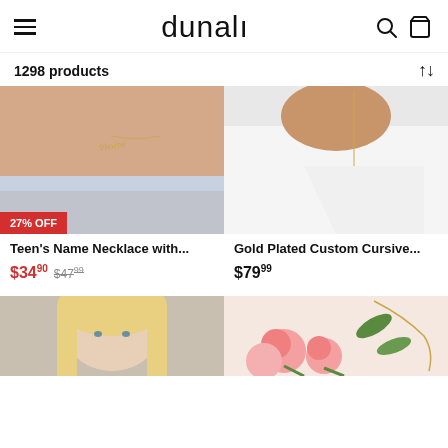dunali
1298 products
[Figure (photo): Teen's Name Necklace product photo showing a gold name necklace on a model wearing a blue lace top, with a red 27% OFF badge]
Teen's Name Necklace with...
$34.90  $47.99
[Figure (photo): Gold Plated Custom Cursive necklace product photo showing a vertical gold name necklace on a model in a white shirt]
Gold Plated Custom Cursive...
$79.99
[Figure (photo): Bottom left product photo showing a blonde model]
[Figure (photo): Bottom right product photo showing a gold necklace with pink roses]